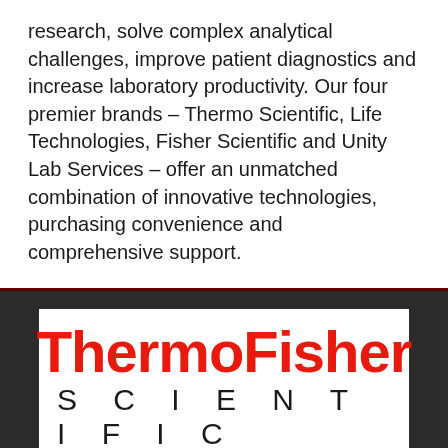research, solve complex analytical challenges, improve patient diagnostics and increase laboratory productivity. Our four premier brands – Thermo Scientific, Life Technologies, Fisher Scientific and Unity Lab Services – offer an unmatched combination of innovative technologies, purchasing convenience and comprehensive support.
[Figure (logo): Thermo Fisher Scientific logo — 'ThermoFisher' in bold red on top, 'SCIENTIFIC' in spaced black letters below, on white background within a dark panel]
Thermo Scientific